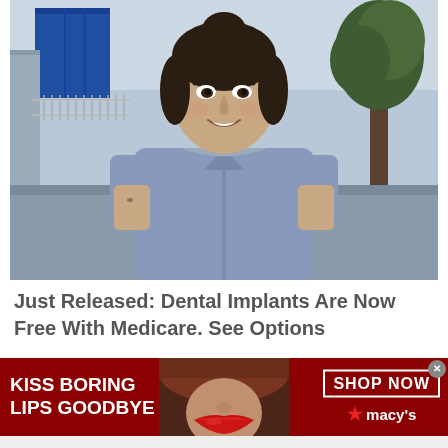[Figure (photo): A woman with dark hair in an updo, wearing a fitted gray short-sleeve top and gold necklace, smiling. She is standing outdoors on a sidewalk with a fence, blue building, tree, and parked cars visible in the background.]
Just Released: Dental Implants Are Now Free With Medicare. See Options
[Figure (infographic): A dark red banner advertisement for Macy's featuring the text 'KISS BORING LIPS GOODBYE' on the left in white bold uppercase text, a close-up photo of a woman's face with red lips in the center, and 'SHOP NOW' in a white bordered box with a red star and 'macy's' branding on the right. A small gray close (x) button appears in the top-right corner of the banner.]